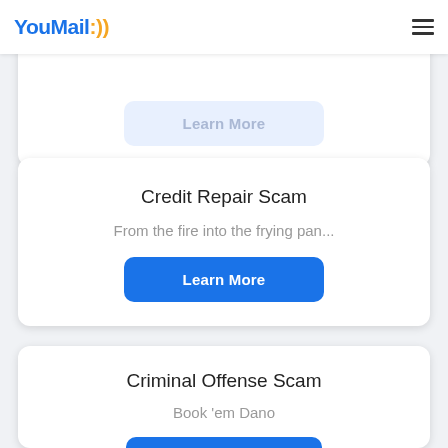YouMail:)) [hamburger menu]
[Figure (screenshot): Partially visible card with a blue 'Learn More' button, top of page]
Credit Repair Scam
From the fire into the frying pan...
[Figure (screenshot): Blue 'Learn More' button for Credit Repair Scam card]
Criminal Offense Scam
Book 'em Dano
[Figure (screenshot): Blue 'Learn More' button for Criminal Offense Scam card (partially visible)]